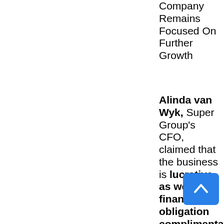Company Remains Focused On Further Growth
Alinda van Wyk, Super Group's CFO, claimed that the business is lucrative as well as financial obligation complimentary. At the exact same time, she mentioned that Super Group constantly creating money as well as has